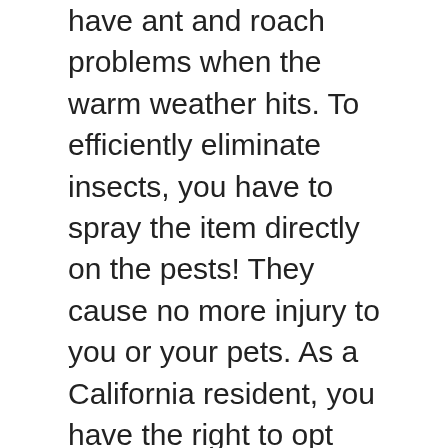have ant and roach problems when the warm weather hits. To efficiently eliminate insects, you have to spray the item directly on the pests! They cause no more injury to you or your pets. As a California resident, you have the right to opt out of the “sale” of your personal information. She ends her remark by saying that she’s“Up in the atmosphere with this item.”. How to use this spray? Zevo Ant Roach and Fly Insect Trigger Spray - 12oz. 4.2 out of 5 stars with 944 reviews. However, the unfortunate thing about Zevo, and about many other pest control products and sprays, is that it must be applied directly to the bug in order to target those nerve receptors they talk about on their site. Does Zevo kill German roaches Asked by